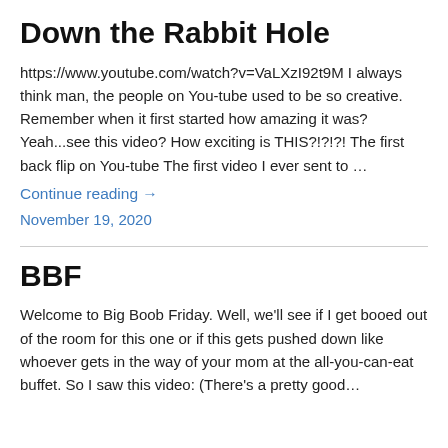Down the Rabbit Hole
https://www.youtube.com/watch?v=VaLXzI92t9M I always think man, the people on You-tube used to be so creative. Remember when it first started how amazing it was? Yeah...see this video? How exciting is THIS?!?!?! The first back flip on You-tube The first video I ever sent to …
Continue reading →
November 19, 2020
BBF
Welcome to Big Boob Friday. Well, we'll see if I get booed out of the room for this one or if this gets pushed down like whoever gets in the way of your mom at the all-you-can-eat buffet. So I saw this video: (There's a pretty good…